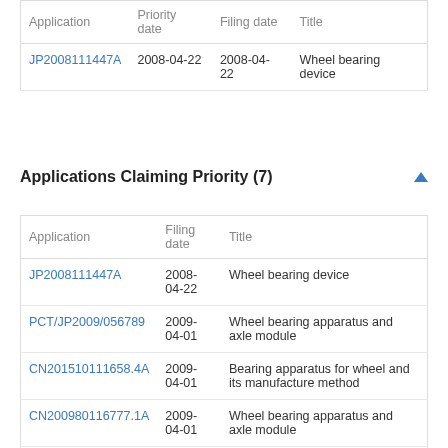| Application | Priority date | Filing date | Title |
| --- | --- | --- | --- |
| JP2008111447A | 2008-04-22 | 2008-04-22 | Wheel bearing device |
Applications Claiming Priority (7)
| Application | Filing date | Title |
| --- | --- | --- |
| JP2008111447A | 2008-04-22 | Wheel bearing device |
| PCT/JP2009/056789 | 2009-04-01 | Wheel bearing apparatus and axle module |
| CN201510111658.4A | 2009-04-01 | Bearing apparatus for wheel and its manufacture method |
| CN200980116777.1A | 2009-04-01 | Wheel bearing apparatus and axle module |
| DE112009000812T | 2009-04-01 | Wheel bearing device and axle module |